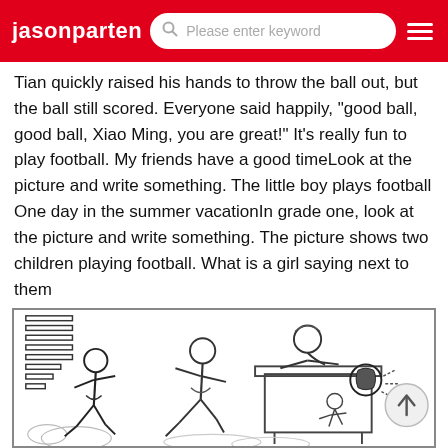jasonparten — Please enter keyword
Tian quickly raised his hands to throw the ball out, but the ball still scored. Everyone said happily, "good ball, good ball, Xiao Ming, you are great!" It's really fun to play football. My friends have a good timeLook at the picture and write something. The little boy plays football
One day in the summer vacationIn grade one, look at the picture and write something. The picture shows two children playing football. What is a girl saying next to them
When Xiao Gan
[Figure (illustration): Black and white illustration showing children playing football. Two children are running on the left, a figure (teacher/goalie) is leaning over a desk or barrier in the middle, and a football/soccer ball is shown on the right with motion lines. Clouds or ground texture visible at the bottom.]